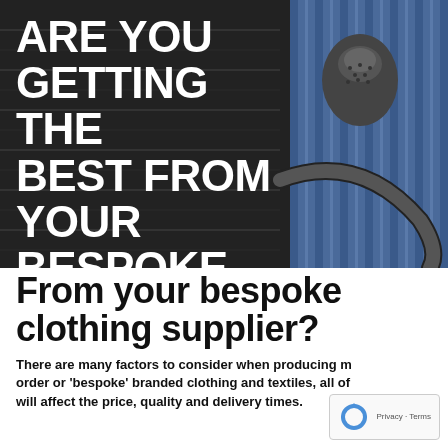[Figure (photo): Dark background photo of sewing/tailoring items including a thimble, measuring tape, and striped fabric (ties/shirts). Large white bold uppercase text overlaid on the left reads: ARE YOU GETTING THE BEST FROM YOUR BESPOKE CLOTHING SUPPLIER?]
From your bespoke clothing supplier?
There are many factors to consider when producing made to order or 'bespoke' branded clothing and textiles, all of which will affect the price, quality and delivery times.